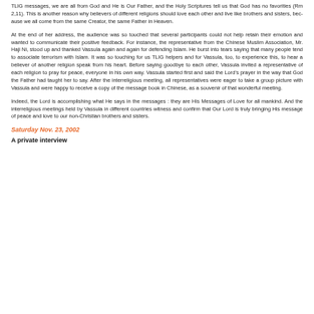TLIG messages, we are all from God and He is Our Father, and the Holy Scriptures tell us that God has no favorities (Rm 2,11). This is another reason why believers of different religions should love each other and live like brothers and sisters, because we all come from the same Creator, the same Father in Heaven.
At the end of her address, the audience was so touched that several participants could not help retain their emotion and wanted to communicate their positive feedback. For instance, the representative from the Chinese Muslim Association, Mr. Haji Ni, stood up and thanked Vassula again and again for defending Islam. He burst into tears saying that many people tend to associate terrorism with Islam. It was so touching for us TLIG helpers and for Vassula, too, to experience this, to hear a believer of another religion speak from his heart. Before saying goodbye to each other, Vassula invited a representative of each religion to pray for peace, everyone in his own way. Vassula started first and said the Lord's prayer in the way that God the Father had taught her to say. After the interreligious meeting, all representatives were eager to take a group picture with Vassula and were happy to receive a copy of the message book in Chinese, as a souvenir of that wonderful meeting.
Indeed, the Lord is accomplishing what He says in the messages : they are His Messages of Love for all mankind. And the interreligious meetings held by Vassula in different countries witness and confirm that Our Lord is truly bringing His message of peace and love to our non-Christian brothers and sisters.
Saturday Nov. 23, 2002
A private interview